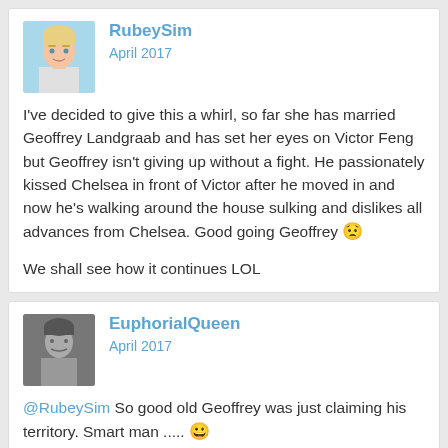[Figure (photo): Avatar of RubeySim - a stylized Sims character with blonde hair]
RubeySim
April 2017
I've decided to give this a whirl, so far she has married Geoffrey Landgraab and has set her eyes on Victor Feng but Geoffrey isn't giving up without a fight. He passionately kissed Chelsea in front of Victor after he moved in and now he's walking around the house sulking and dislikes all advances from Chelsea. Good going Geoffrey 😟
We shall see how it continues LOL
[Figure (photo): Avatar of EuphorialQueen - grayscale photo]
EuphorialQueen
April 2017
@RubeySim So good old Geoffrey was just claiming his territory. Smart man ..... 😀
[Figure (photo): Avatar of RubeySim - a stylized Sims character with blonde hair]
RubeySim